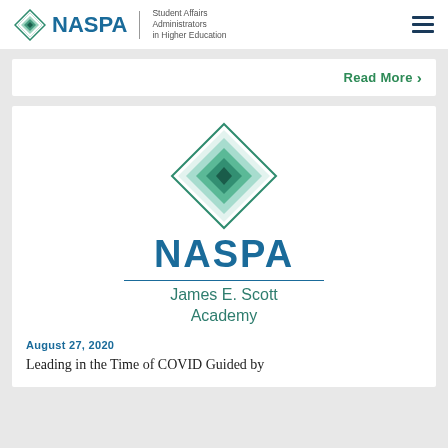NASPA Student Affairs Administrators in Higher Education
Read More
[Figure (logo): NASPA James E. Scott Academy logo with teal diamond icon and NASPA text in blue]
August 27, 2020
Leading in the Time of COVID Guided by